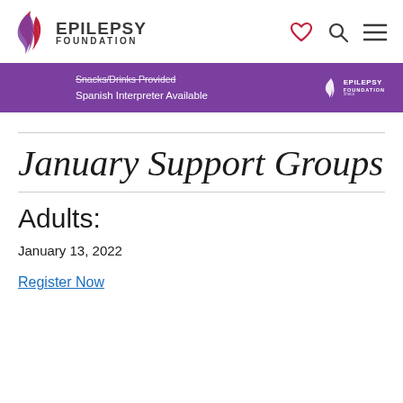EPILEPSY FOUNDATION
[Figure (screenshot): Purple banner with text 'Snacks/Drinks Provided Spanish Interpreter Available' and Epilepsy Foundation logo]
January Support Groups
Adults:
January 13, 2022
Register Now